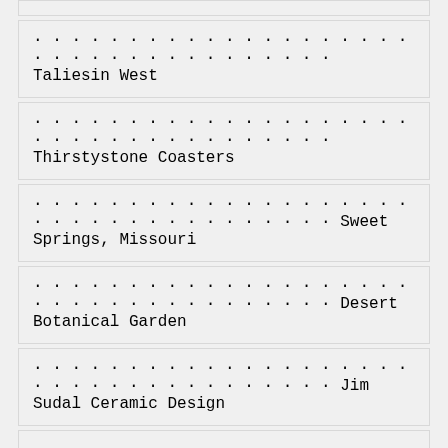Taliesin West
Thirstystone Coasters
Sweet Springs, Missouri
Desert Botanical Garden
Jim Sudal Ceramic Design
Kansas Grasslands
U J Ramelson
RO-ARK Leather
Lenox Saw Blades